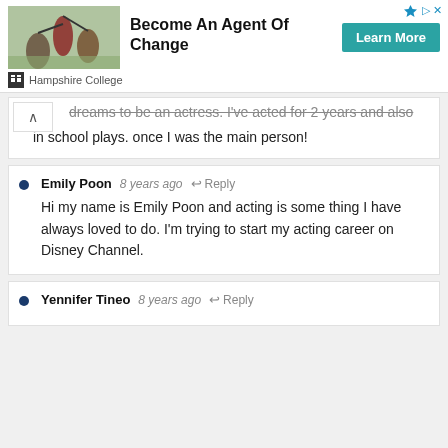[Figure (other): Hampshire College advertisement banner with photo of acrobatic performers, headline 'Become An Agent Of Change', Learn More button, and sponsor logo]
dreams to be an actress. I've acted for 2 years and also in school plays. once I was the main person!
Emily Poon  8 years ago  Reply
Hi my name is Emily Poon and acting is some thing I have always loved to do. I'm trying to start my acting career on Disney Channel.
Yennifer Tineo  8 years ago  Reply